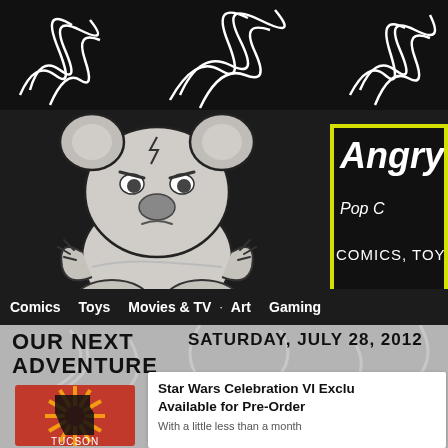[Figure (illustration): Top decorative banner with white swirling line art on black background — stylized curling thorny vine or creature tentacle motifs]
[Figure (illustration): Angry koala bear mascot illustration — grey cartoon koala with angry expression, claws, sitting pose, black and white line art on dark background]
Angry
Pop C
COMICS, TOYS, M
Comics  Toys  Movies & TV  ·  Art  Gaming
OUR NEXT ADVENTURE
SATURDAY, JULY 28, 2012
[Figure (logo): Tucson logo / badge with red and gold sunburst design and Arizona state shape silhouette]
Star Wars Celebration VI Exclusives Available for Pre-Order
With a little less than a month